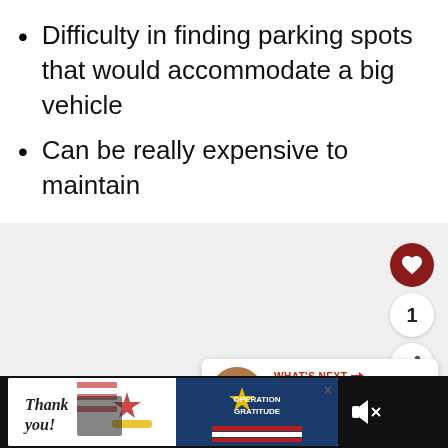Difficulty in finding parking spots that would accommodate a big vehicle
Can be really expensive to maintain
[Figure (screenshot): Web page UI elements: heart/like button (dark red circle with heart icon), count badge showing '1', share button, 'WHAT'S NEXT' card showing 'RV vs Mobile Home –...' with a circular thumbnail image]
[Figure (photo): Advertisement banner at the bottom: Thank You message with American flag imagery, firefighters group photo, Operation Gratitude logo on dark blue background]